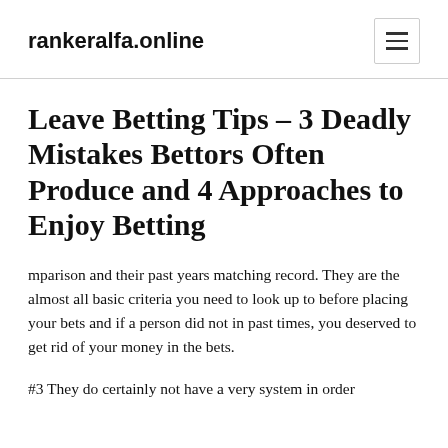rankeralfa.online
Leave Betting Tips – 3 Deadly Mistakes Bettors Often Produce and 4 Approaches to Enjoy Betting
mparison and their past years matching record. They are the almost all basic criteria you need to look up to before placing your bets and if a person did not in past times, you deserved to get rid of your money in the bets.
#3 They do certainly not have a very system in order